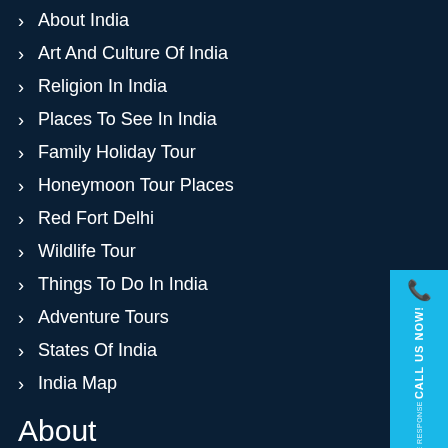About India
Art And Culture Of India
Religion In India
Places To See In India
Family Holiday Tour
Honeymoon Tour Places
Red Fort Delhi
Wildlife Tour
Things To Do In India
Adventure Tours
States Of India
India Map
[Figure (infographic): Call Us Now! For Immediate Response banner in cyan/blue on right side]
About
About Company